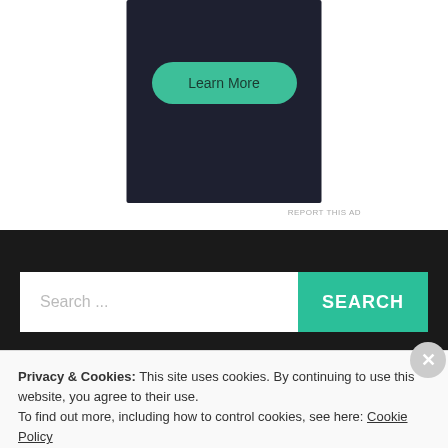[Figure (screenshot): Advertisement box with dark navy background showing a 'Learn More' button in teal/green rounded rectangle style]
REPORT THIS AD
[Figure (screenshot): Website search bar with white input field placeholder 'Search ...' and teal 'SEARCH' button on dark background]
Privacy & Cookies: This site uses cookies. By continuing to use this website, you agree to their use.
To find out more, including how to control cookies, see here: Cookie Policy
Close and accept